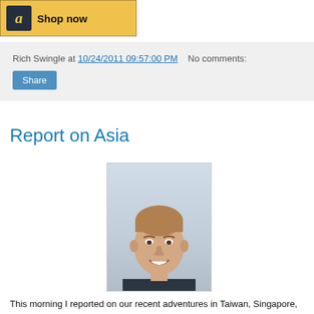[Figure (logo): Amazon 'Shop now' button with Amazon logo on gold/yellow background]
Rich Swingle at 10/24/2011 09:57:00 PM   No comments:
Share
Report on Asia
[Figure (photo): Headshot of a smiling man with short brown hair wearing a dark top, light blue background]
This morning I reported on our recent adventures in Taiwan, Singapore, Oregon and Writers' Block.  For photos from the our time in Asia visit SwinglesInAsia2011.Shutterfly.com, and for more stories visit this blog's September and October 2011 archives.